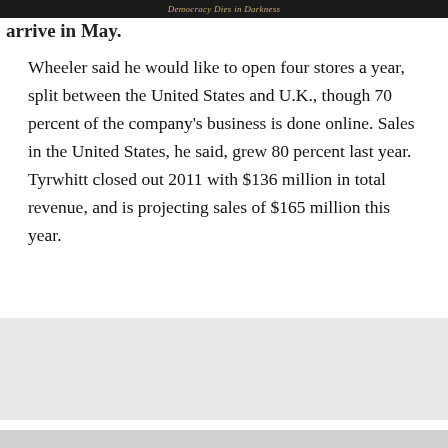Democracy Dies in Darkness
arrive in May.
Wheeler said he would like to open four stores a year, split between the United States and U.K., though 70 percent of the company's business is done online. Sales in the United States, he said, grew 80 percent last year. Tyrwhitt closed out 2011 with $136 million in total revenue, and is projecting sales of $165 million this year.